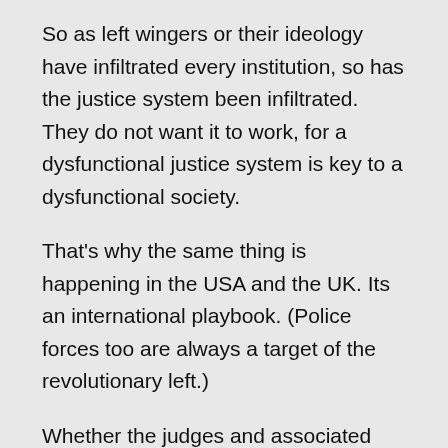So as left wingers or their ideology have infiltrated every institution, so has the justice system been infiltrated. They do not want it to work, for a dysfunctional justice system is key to a dysfunctional society.
That's why the same thing is happening in the USA and the UK. Its an international playbook. (Police forces too are always a target of the revolutionary left.)
Whether the judges and associated people in the justice system realise this or not doesn't matter, because they're either on board with it or being manipulated. The Justice system is deliberately dysfunctional